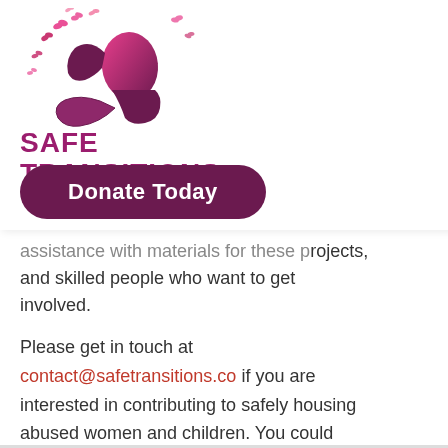[Figure (logo): Safe Transitions logo with woman's silhouette and butterflies in pink/magenta gradient, text 'SAFE TRANSITIONS' in dark purple/magenta]
Donate Today
assistance with materials for these projects, and skilled people who want to get involved.
Please get in touch at contact@safetransitions.co if you are interested in contributing to safely housing abused women and children. You could save a life.
Become a Sponsor!